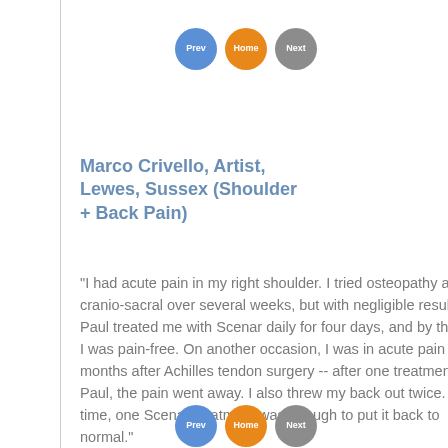[Figure (other): Three navigation circles at top: blue (Prev), orange (Home), gray (Next)]
Marco Crivello, Artist, Lewes, Sussex (Shoulder + Back Pain)
"I had acute pain in my right shoulder. I tried osteopathy and cranio-sacral over several weeks, but with negligible results. Paul treated me with Scenar daily for four days, and by the end I was pain-free. On another occasion, I was in acute pain months after Achilles tendon surgery -- after one treatment from Paul, the pain went away. I also threw my back out twice. Each time, one Scenar treatment was enough to put it back to normal."
[Figure (other): Three navigation circles at bottom: blue (Prev), orange (Home), gray (Next)]